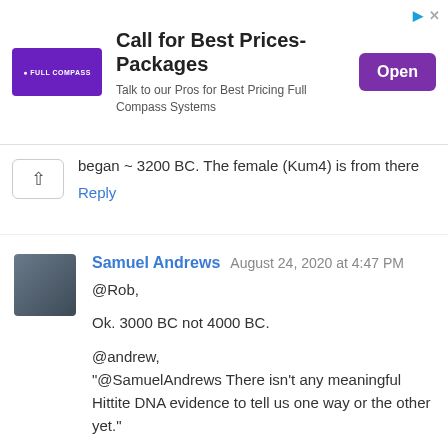[Figure (screenshot): Advertisement banner for Full Compass Systems with headline 'Call for Best Prices-Packages', subtext 'Talk to our Pros for Best Pricing Full Compass Systems', and a purple 'Open' button. Small ad attribution icons in top-right corner.]
began ~ 3200 BC. The female (Kum4) is from there
Reply
Samuel Andrews   August 24, 2020 at 4:47 PM
@Rob,

Ok. 3000 BC not 4000 BC.

@andrew,
"@SamuelAndrews There isn't any meaningful Hittite DNA evidence to tell us one way or the other yet."

Kum4 is low coveragem dates 3200 BC, and is modelled with Steppe ancestry.
https://eurogenes.blogspot.com/2020/06/the-precursor-of-trojans.html